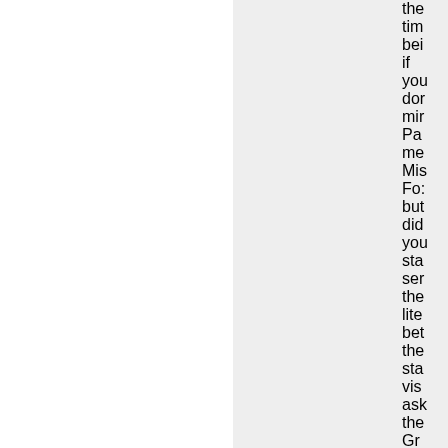the tim bei if you don min Pa me Mis Fo: but did you sta ser the lite bet the sta vis ask the Gr